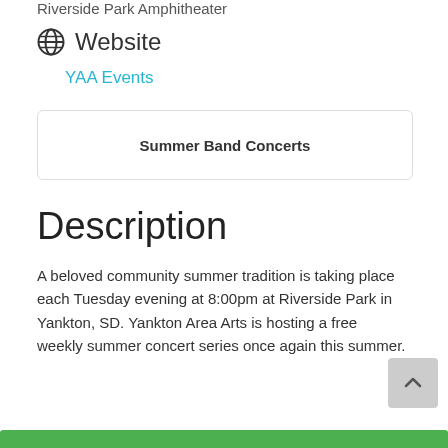Riverside Park Amphitheater
Website
YAA Events
Summer Band Concerts
Description
A beloved community summer tradition is taking place each Tuesday evening at 8:00pm at Riverside Park in Yankton, SD. Yankton Area Arts is hosting a free weekly summer concert series once again this summer.